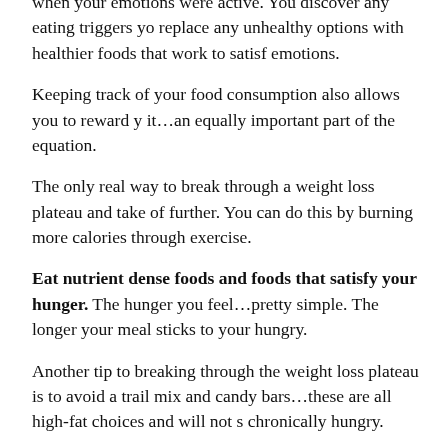when your emotions were active. You discover any eating triggers you replace any unhealthy options with healthier foods that work to satisfy emotions.
Keeping track of your food consumption also allows you to reward yourself it…an equally important part of the equation.
The only real way to break through a weight loss plateau and take off further. You can do this by burning more calories through exercise.
Eat nutrient dense foods and foods that satisfy your hunger. The hunger you feel…pretty simple. The longer your meal sticks to your ribs, the less hungry.
Another tip to breaking through the weight loss plateau is to avoid any trail mix and candy bars…these are all high-fat choices and will not satisfy chronically hungry.
Cut calorie containing drinks and beverages from your diet; everyone Adding just 100 extra calories to your diet daily translates into 10 extra pre-made juice…eat the fruit instead. The idea is to feel full when you